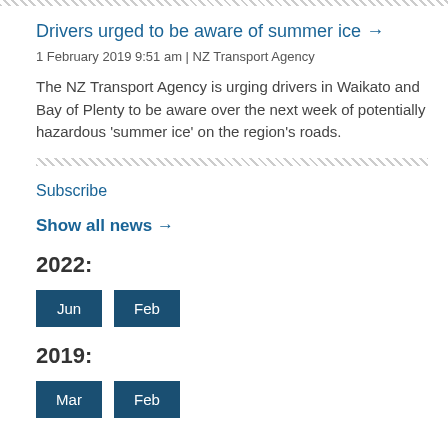Drivers urged to be aware of summer ice →
1 February 2019 9:51 am | NZ Transport Agency
The NZ Transport Agency is urging drivers in Waikato and Bay of Plenty to be aware over the next week of potentially hazardous 'summer ice' on the region's roads.
Subscribe
Show all news →
2022:
Jun
Feb
2019:
Mar
Feb